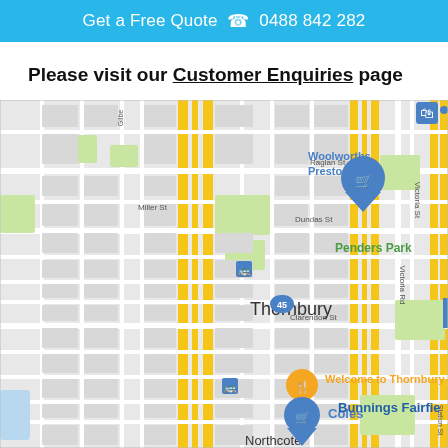Get a Free Quote  📞 0488 842 282
Please visit our Customer Enquiries page
[Figure (map): Google Maps showing Thornbury area in Melbourne, Australia, with Woolworths Preston South, Penders Park, Coles, Bunnings Fairfield, and Welcome to Thornbury markers visible. Major roads include Victoria St, Victoria Rd, Dundas St, Raglan St, Miller St, Clarendon St, and route 45.]